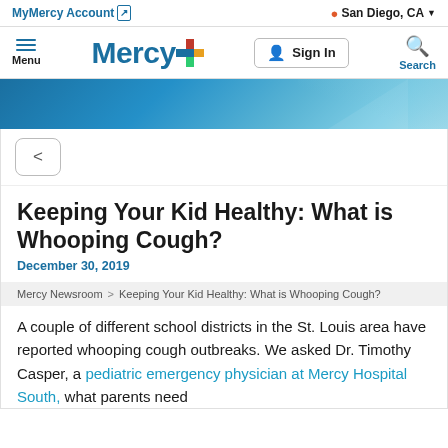MyMercy Account  |  San Diego, CA
[Figure (logo): Mercy health system logo with colorful cross icon and 'Mercy' wordmark in blue, plus Sign In button and Search icon]
[Figure (photo): Blue gradient hero banner background]
[Figure (other): Share button with < icon]
Keeping Your Kid Healthy: What is Whooping Cough?
December 30, 2019
Mercy Newsroom > Keeping Your Kid Healthy: What is Whooping Cough?
A couple of different school districts in the St. Louis area have reported whooping cough outbreaks. We asked Dr. Timothy Casper, a pediatric emergency physician at Mercy Hospital South, what parents need